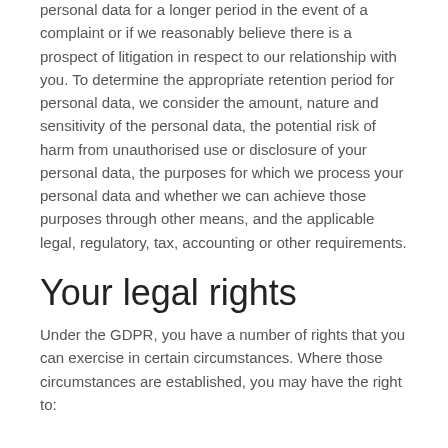personal data for a longer period in the event of a complaint or if we reasonably believe there is a prospect of litigation in respect to our relationship with you. To determine the appropriate retention period for personal data, we consider the amount, nature and sensitivity of the personal data, the potential risk of harm from unauthorised use or disclosure of your personal data, the purposes for which we process your personal data and whether we can achieve those purposes through other means, and the applicable legal, regulatory, tax, accounting or other requirements.
Your legal rights
Under the GDPR, you have a number of rights that you can exercise in certain circumstances. Where those circumstances are established, you may have the right to: